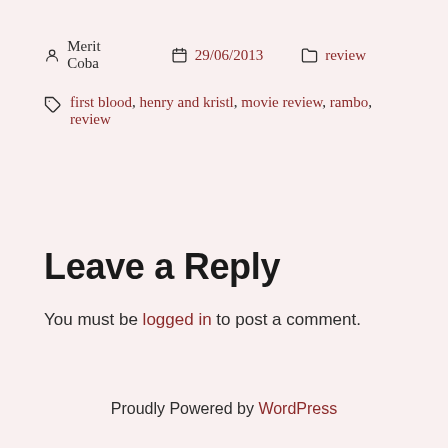Merit Coba   29/06/2013   review
first blood, henry and kristl, movie review, rambo, review
Leave a Reply
You must be logged in to post a comment.
Proudly Powered by WordPress